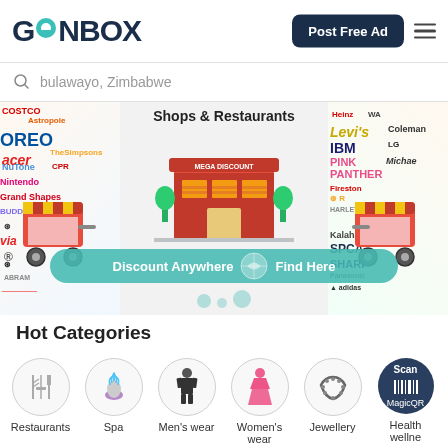[Figure (logo): GONBOX logo with teal location pin replacing the O, dark navy text]
Post Free Ad
bulawayo, Zimbabwe
[Figure (illustration): Banner showing Shops & Restaurants with illustrated storefront, market carts, brand logos in background, and teal 'Discount Anywhere Find Here' banner]
Hot Categories
Restaurants
Spa
Men's wear
Women's wear
Jewellery
Health wellne